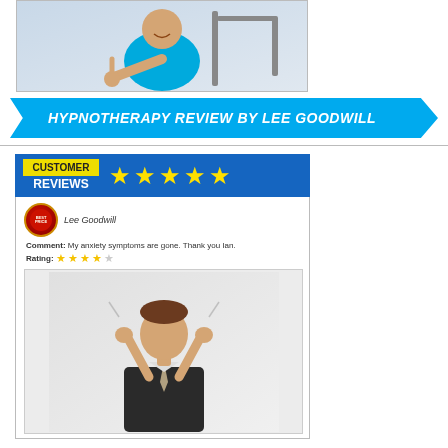[Figure (photo): Man in blue shirt giving thumbs up in gym]
HYPNOTHERAPY REVIEW BY LEE GOODWILL
[Figure (infographic): Customer Reviews banner with 5 yellow stars on blue background, showing review by Lee Goodwill: Comment: My anxiety symptoms are gone. Thank you Ian. Rating: 4.5 stars]
[Figure (photo): Man in business suit holding his head in stress/anxiety]